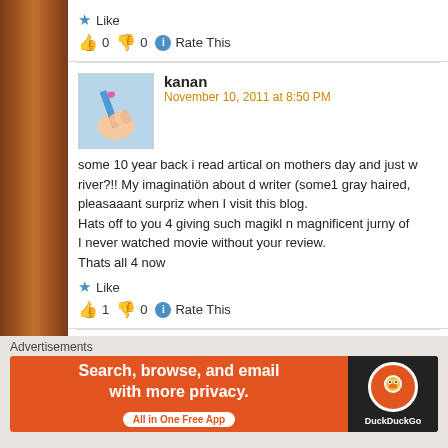Like
👍 0 👎 0 ℹ Rate This
kanan
November 10, 2011 at 8:50 PM
some 10 year back i read artical on mothers day and just w river?!! My imaginatiön about d writer (some1 gray haired, pleasaaant surpriz when I visit this blog.
Hats off to you 4 giving such magikl n magnificent jurny of
I never watched movie without your review.
Thats all 4 now
Like
👍 1 👎 0 ℹ Rate This
kanan
Advertisements
[Figure (infographic): DuckDuckGo advertisement banner: 'Search, browse, and email with more privacy. All in One Free App' with DuckDuckGo logo on black background]